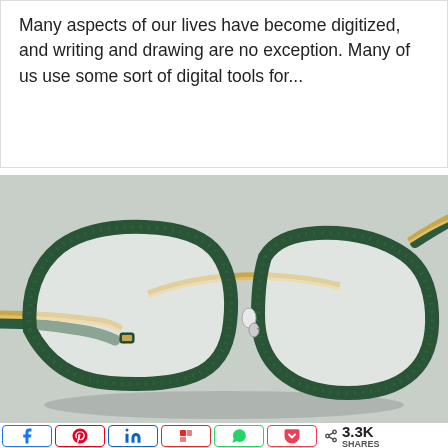Many aspects of our lives have become digitized, and writing and drawing are no exception. Many of us use some sort of digital tools for...
[Figure (photo): Close-up photo of green-framed eyeglasses with gold metal bridge and temples, shot against a light gray background.]
< 3.3K SHARES